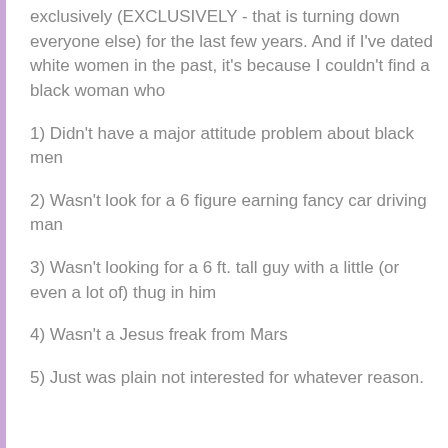exclusively (EXCLUSIVELY - that is turning down everyone else) for the last few years. And if I've dated white women in the past, it's because I couldn't find a black woman who
1) Didn't have a major attitude problem about black men
2) Wasn't look for a 6 figure earning fancy car driving man
3) Wasn't looking for a 6 ft. tall guy with a little (or even a lot of) thug in him
4) Wasn't a Jesus freak from Mars
5) Just was plain not interested for whatever reason.